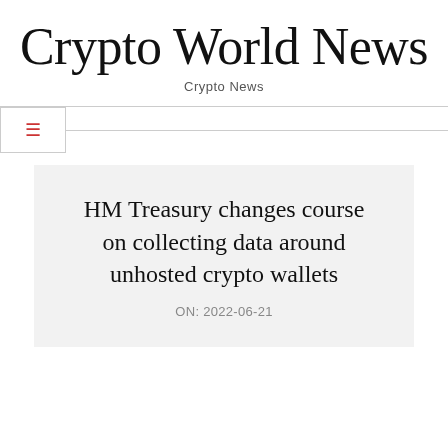Crypto World News
Crypto News
HM Treasury changes course on collecting data around unhosted crypto wallets
ON: 2022-06-21